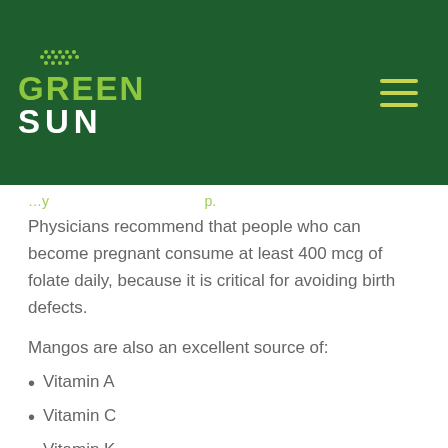GREEN SUN
Physicians recommend that people who can become pregnant consume at least 400 mcg of folate daily, because it is critical for avoiding birth defects.
Mangos are also an excellent source of:
Vitamin A
Vitamin C
Vitamin K
Potassium
Beta carotene